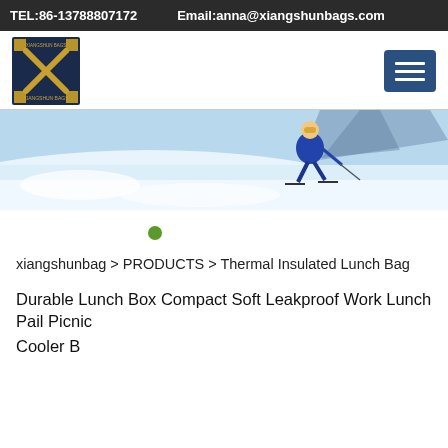TEL:86-13788807172    Email:anna@xiangshunbags.com
[Figure (logo): Xiangshun Bags logo - dark blue square with gold X symbol and brand name]
[Figure (photo): Panoramic hero image of a skier in blue jacket on a snowy slope with mountains in background]
•
xiangshunbag > PRODUCTS > Thermal Insulated Lunch Bag
Durable Lunch Box Compact Soft Leakproof Work Lunch Pail Picnic
Cooler B